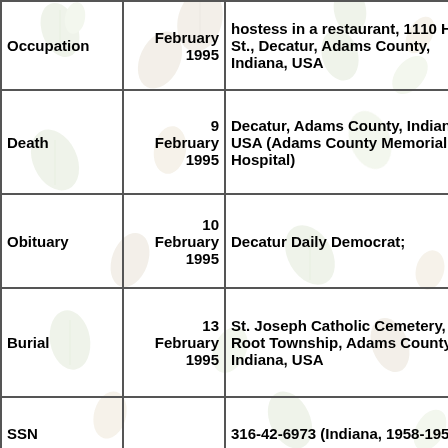| Field | Date | Details |
| --- | --- | --- |
| Occupation | February 1995 | hostess in a restaurant, 1110 High St., Decatur, Adams County, Indiana, USA |
| Death | 9 February 1995 | Decatur, Adams County, Indiana, USA (Adams County Memorial Hospital) |
| Obituary | 10 February 1995 | Decatur Daily Democrat; |
| Burial | 13 February 1995 | St. Joseph Catholic Cemetery, Root Township, Adams County, Indiana, USA |
| SSN |  | 316-42-6973 (Indiana, 1958-1959); |
| Note |  | Nancy died of metastatic breast cancer (from death certificate); |